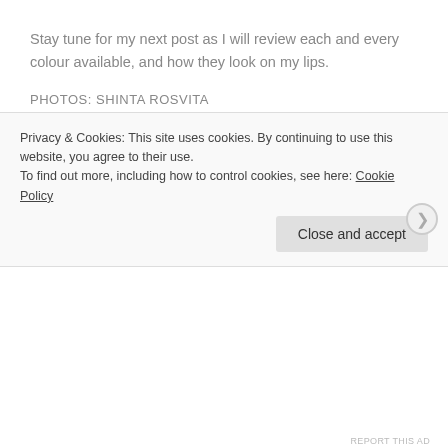Stay tune for my next post as I will review each and every colour available, and how they look on my lips.
PHOTOS: SHINTA ROSVITA
MY LIFE MIGHT NOT BE PERFECT....
March 6, 2016
Privacy & Cookies: This site uses cookies. By continuing to use this website, you agree to their use.
To find out more, including how to control cookies, see here: Cookie Policy
Close and accept